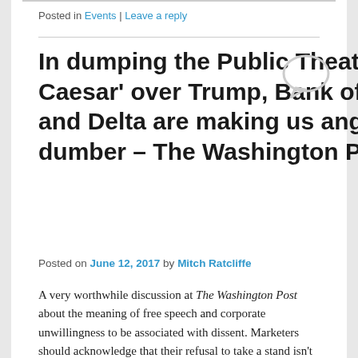Posted in Events | Leave a reply
In dumping the Public Theater's 'Julius Caesar' over Trump, Bank of America and Delta are making us angrier and dumber – The Washington Post
Posted on June 12, 2017 by Mitch Ratcliffe
A very worthwhile discussion at The Washington Post about the meaning of free speech and corporate unwillingness to be associated with dissent. Marketers should acknowledge that their refusal to take a stand isn't